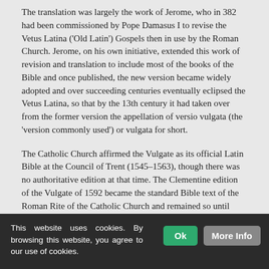The translation was largely the work of Jerome, who in 382 had been commissioned by Pope Damasus I to revise the Vetus Latina ('Old Latin') Gospels then in use by the Roman Church. Jerome, on his own initiative, extended this work of revision and translation to include most of the books of the Bible and once published, the new version became widely adopted and over succeeding centuries eventually eclipsed the Vetus Latina, so that by the 13th century it had taken over from the former version the appellation of versio vulgata (the 'version commonly used') or vulgata for short.
The Catholic Church affirmed the Vulgate as its official Latin Bible at the Council of Trent (1545–1563), though there was no authoritative edition at that time. The Clementine edition of the Vulgate of 1592 became the standard Bible text of the Roman Rite of the Catholic Church and remained so until 1979 when the Nova Vulgata was promulgated.
This website uses cookies. By browsing this website, you agree to our use of cookies.   Ok   More Info